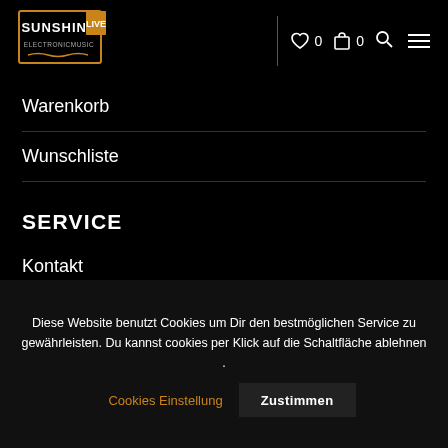Sunshine Live – Electronicmusic (logo), 0 wishlist items, 0 cart items, search, menu
Warenkorb
Wunschliste
SERVICE
Kontakt
Bezahlung – Versand
AGB
Diese Website benutzt Cookies um Dir den bestmöglichen Service zu gewährleisten. Du kannst cookies per Klick auf die Schaltfläche ablehnen .
Cookies Einstellung
Zustimmen